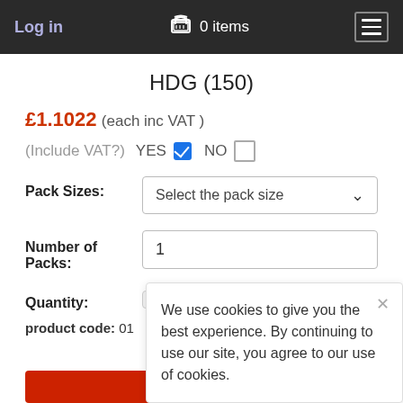Log in  0 items
HDG (150)
£1.1022 (each inc VAT )
(Include VAT?)  YES ☑  NO ☐
Pack Sizes:  Select the pack size
Number of Packs:  1
Quantity:
product code: 01
We use cookies to give you the best experience. By continuing to use our site, you agree to our use of cookies.